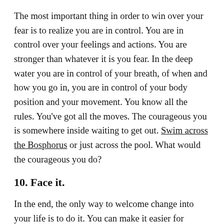The most important thing in order to win over your fear is to realize you are in control. You are in control over your feelings and actions. You are stronger than whatever it is you fear. In the deep water you are in control of your breath, of when and how you go in, you are in control of your body position and your movement. You know all the rules. You've got all the moves. The courageous you is somewhere inside waiting to get out. Swim across the Bosphorus or just across the pool. What would the courageous you do?
10. Face it.
In the end, the only way to welcome change into your life is to do it. You can make it easier for yourself emotionally, you can prepare physically, but it's always only what you DO that really matters. Do it. And if you